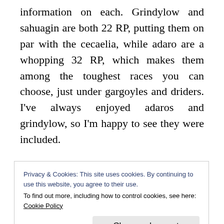information on each. Grindylow and sahuagin are both 22 RP, putting them on par with the cecaelia, while adaro are a whopping 32 RP, which makes them among the toughest races you can choose, just under gargoyles and driders. I've always enjoyed adaros and grindylow, so I'm happy to see they were included.
Flipping the page we get to three pages on gear
Privacy & Cookies: This site uses cookies. By continuing to use this website, you agree to their use.
To find out more, including how to control cookies, see here:
Cookie Policy
improve their speed on land. There's also a lot